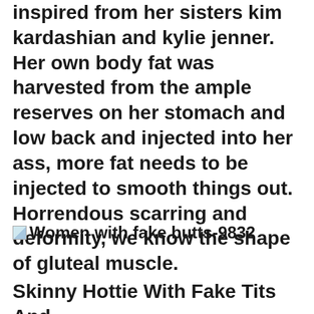inspired from her sisters kim kardashian and kylie jenner. Her own body fat was harvested from the ample reserves on her stomach and low back and injected into her ass, more fat needs to be injected to smooth things out. Horrendous scarring and deformity, we know the shape of gluteal muscle.
[Figure (photo): Small image thumbnail placeholder icon]
Women with fake butts-9832
Skinny Hottie With Fake Tits And